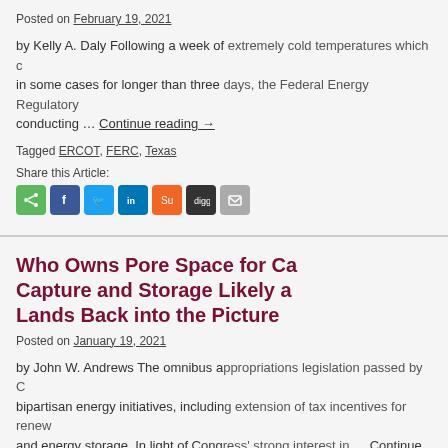Posted on February 19, 2021
by Kelly A. Daly Following a week of extremely cold temperatures which caused power outages in some cases for longer than three days, the Federal Energy Regulatory ... Continue reading →
Tagged ERCOT, FERC, Texas
Share this Article:
Who Owns Pore Space for Carbon Capture and Storage Likely to Become an Issue as Federal Lands Back into the Picture
Posted on January 19, 2021
by John W. Andrews The omnibus appropriations legislation passed by Congress contains several bipartisan energy initiatives, including extension of tax incentives for renewable energy and energy storage. In light of Congress' strong interest in … Continue reading →
Tagged carbon capture and storage, CCS, geologic sequestration, Safe Drinking Water Act, SH... Nuclear Corp.
Share this Article: